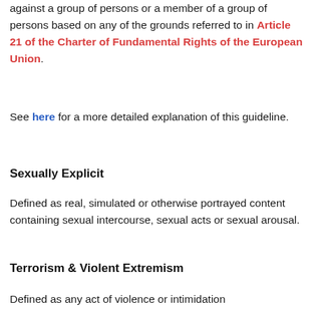against a group of persons or a member of a group of persons based on any of the grounds referred to in Article 21 of the Charter of Fundamental Rights of the European Union.
See here for a more detailed explanation of this guideline.
Sexually Explicit
Defined as real, simulated or otherwise portrayed content containing sexual intercourse, sexual acts or sexual arousal.
Terrorism & Violent Extremism
Defined as any act of violence or intimidation